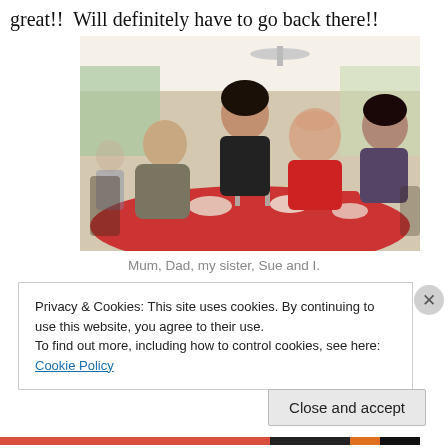great!!  Will definitely have to go back there!!
[Figure (photo): Four people seated at a round table with a red tablecloth in a restaurant. From left: a bald man, a dark-haired woman standing behind, an older woman in red, and a younger dark-haired woman. The restaurant has large windows and other diners visible in the background.]
Mum, Dad, my sister, Sue and I.
Privacy & Cookies: This site uses cookies. By continuing to use this website, you agree to their use.
To find out more, including how to control cookies, see here: Cookie Policy
Close and accept